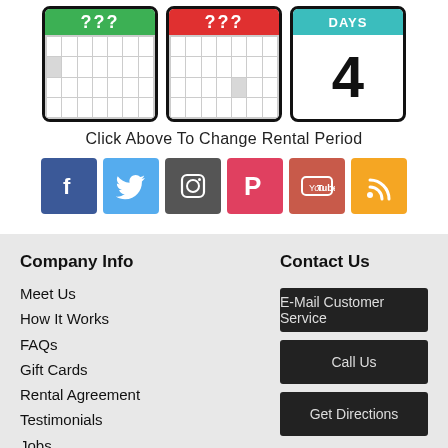[Figure (illustration): Three calendar icons in a row. First has green header with '???', second has red header with '???', third has teal header 'DAYS' and shows large number 4.]
Click Above To Change Rental Period
[Figure (infographic): Row of six social media icons: Facebook (blue), Twitter (light blue), Instagram (grey), Pinterest (pink-red), YouTube (red), RSS (orange).]
Company Info
Meet Us
How It Works
FAQs
Gift Cards
Rental Agreement
Testimonials
Jobs
Partners
Contact Us
E-Mail Customer Service
Call Us
Get Directions